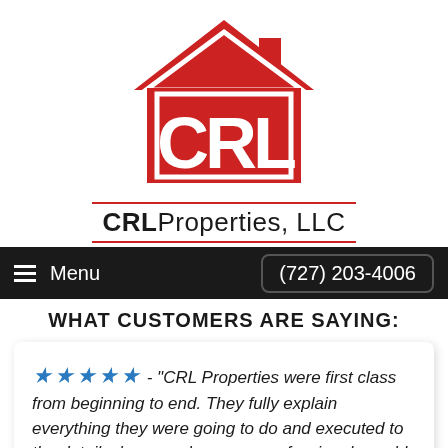[Figure (logo): CRL Properties LLC logo: red house outline with CRL letters in white inside, company name below with red double underline]
Menu   (727) 203-4006
WHAT CUSTOMERS ARE SAYING:
★★★★★ - "CRL Properties were first class from beginning to end. They fully explain everything they were going to do and executed to the detail; clean, workers very professional, would not hesitate to recommend."